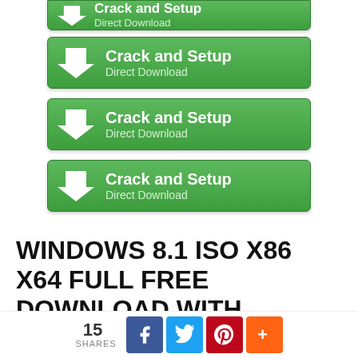[Figure (screenshot): Four green 'Crack and Setup / Direct Download' buttons with arrow icons]
WINDOWS 8.1 ISO X86 X64 FULL FREE DOWNLOAD WITH PRODUCT KEY
15 SHARES [Facebook] [Twitter] [Pinterest] [Plus]